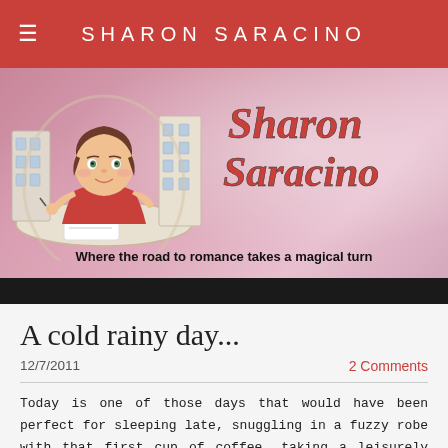SHARON SARACINO
[Figure (illustration): Sharon Saracino blog banner with cartoon woman in red dress writing at a desk, script logo reading 'Sharon Saracino', tagline 'Where the road to romance takes a magical turn']
A cold rainy day...
12/7/2011
2 Comments
Today is one of those days that would have been perfect for sleeping late, snuggling in a fuzzy robe with that first cup of coffee, taking a leisurely look at the morning paper, and then maybe doing a little writing or <gasp> baking. Yes, you've